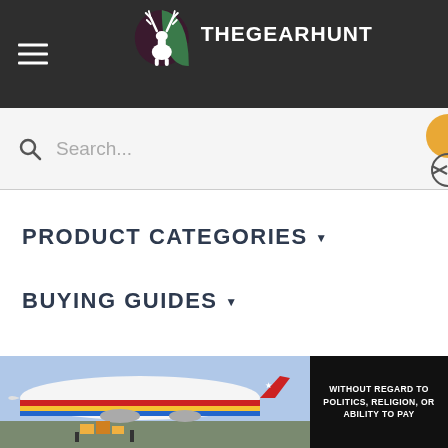THEGEARHUNT
Search...
PRODUCT CATEGORIES
BUYING GUIDES
PRODUCT REVIEWS
BLOG TOPICS
[Figure (photo): Advertisement showing cargo airplane with colorful livery being loaded, with text 'WITHOUT REGARD TO POLITICS, RELIGION, OR ABILITY TO PAY']